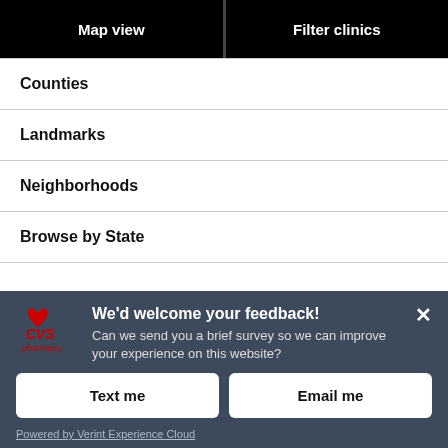Map view
Filter clinics
Counties
Landmarks
Neighborhoods
Browse by State
We'd welcome your feedback!
Can we send you a brief survey so we can improve your experience on this website?
Text me
Email me
Powered by Verint Experience Cloud